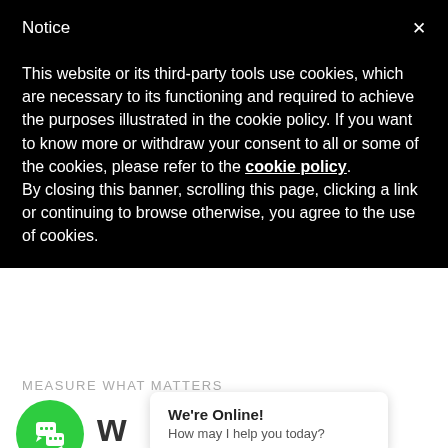Notice
This website or its third-party tools use cookies, which are necessary to its functioning and required to achieve the purposes illustrated in the cookie policy. If you want to know more or withdraw your consent to all or some of the cookies, please refer to the cookie policy.
By closing this banner, scrolling this page, clicking a link or continuing to browse otherwise, you agree to the use of cookies.
MEASURE WHAT MATTERS
[Figure (other): Green circular chat button with speech bubble icon]
We're Online!
How may I help you today?
ors that